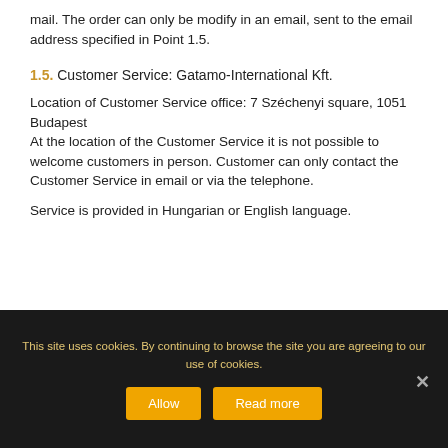mail. The order can only be modify in an email, sent to the email address specified in Point 1.5.
1.5. Customer Service: Gatamo-International Kft.
Location of Customer Service office: 7 Széchenyi square, 1051 Budapest
At the location of the Customer Service it is not possible to welcome customers in person. Customer can only contact the Customer Service in email or via the telephone.
Service is provided in Hungarian or English language.
This site uses cookies. By continuing to browse the site you are agreeing to our use of cookies.